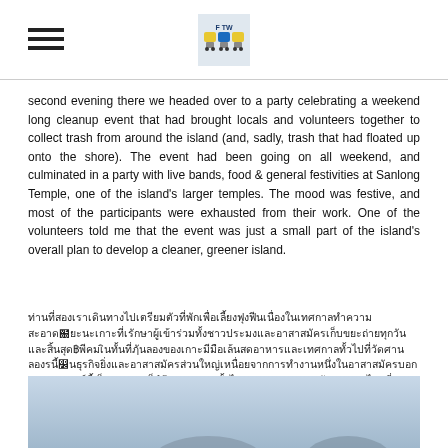[hamburger menu icon] [FOTW logo]
second evening there we headed over to a party celebrating a weekend long cleanup event that had brought locals and volunteers together to collect trash from around the island (and, sadly, trash that had floated up onto the shore). The event had been going on all weekend, and culminated in a party with live bands, food & general festivities at Sanlong Temple, one of the island's larger temples. The mood was festive, and most of the participants were exhausted from their work. One of the volunteers told me that the event was just a small part of the island's overall plan to develop a cleaner, greener island.
[Thai language text paragraph]
[Figure (photo): Partial view of a photo showing outdoor scene, bottom of page]